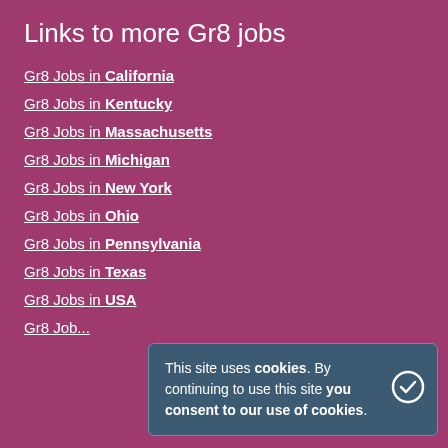Links to more Gr8 jobs
Gr8 Jobs in California
Gr8 Jobs in Kentucky
Gr8 Jobs in Massachusetts
Gr8 Jobs in Michigan
Gr8 Jobs in New York
Gr8 Jobs in Ohio
Gr8 Jobs in Pennsylvania
Gr8 Jobs in Texas
Gr8 Jobs in USA
Gr8 Job...
This site uses cookies. By continuing to use this site you consent to our use of cookies.